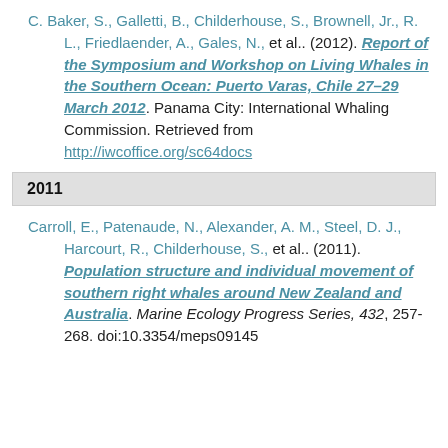C. Baker, S., Galletti, B., Childerhouse, S., Brownell, Jr., R. L., Friedlaender, A., Gales, N., et al.. (2012). Report of the Symposium and Workshop on Living Whales in the Southern Ocean: Puerto Varas, Chile 27–29 March 2012. Panama City: International Whaling Commission. Retrieved from http://iwcoffice.org/sc64docs
2011
Carroll, E., Patenaude, N., Alexander, A. M., Steel, D. J., Harcourt, R., Childerhouse, S., et al.. (2011). Population structure and individual movement of southern right whales around New Zealand and Australia. Marine Ecology Progress Series, 432, 257-268. doi:10.3354/meps09145